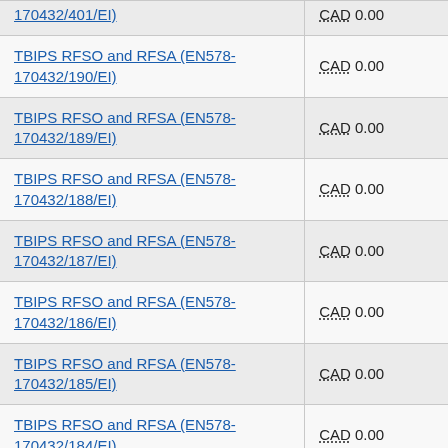| Contract/Amendment | Value |
| --- | --- |
| 170432/401/EI) | CAD 0.00 |
| TBIPS RFSO and RFSA (EN578-170432/190/EI) | CAD 0.00 |
| TBIPS RFSO and RFSA (EN578-170432/189/EI) | CAD 0.00 |
| TBIPS RFSO and RFSA (EN578-170432/188/EI) | CAD 0.00 |
| TBIPS RFSO and RFSA (EN578-170432/187/EI) | CAD 0.00 |
| TBIPS RFSO and RFSA (EN578-170432/186/EI) | CAD 0.00 |
| TBIPS RFSO and RFSA (EN578-170432/185/EI) | CAD 0.00 |
| TBIPS RFSO and RFSA (EN578-170432/184/EI) | CAD 0.00 |
| TBIPS RFSO and RFSA (EN578-170432/183/EI) | CAD 0.00 |
| TBIPS RFSO and RFSA (EN578-170432/182/EI) | CAD 0.00 |